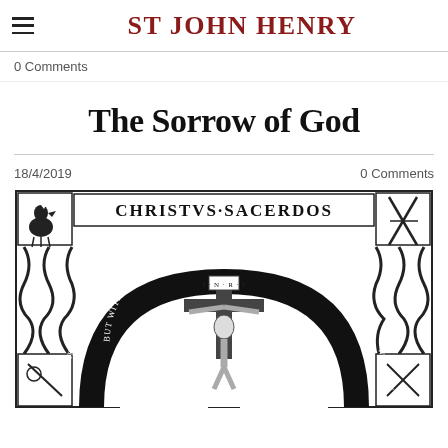ST JOHN HENRY
0 Comments
The Sorrow of God
18/4/2019
0 Comments
[Figure (illustration): Black and white religious illustration depicting a crucifixion scene. At the top is a banner reading 'CHRISTVS SACERDOS'. The image shows Christ on the cross with 'I N R I' inscription. A circular arc text reads 'BUT WITH TE PRECOUS BLOOD O CHRIST WHO VERLY'. In the corners are small panels depicting a rooster (top left) and crossed items (top right). The overall style is medieval woodcut or engraving style with intricate knotwork border decorations.]